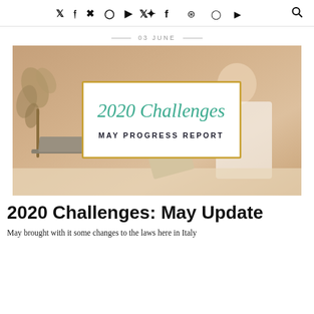Twitter Facebook Pinterest Instagram YouTube [search]
03 JUNE
[Figure (photo): Blog post hero image showing a person at a laptop, with a plant on the left. Overlaid white box with gold border containing the text '2020 Challenges' in teal cursive script and 'MAY PROGRESS REPORT' in bold uppercase below it.]
2020 Challenges: May Update
May brought with it some changes to the laws here in Italy